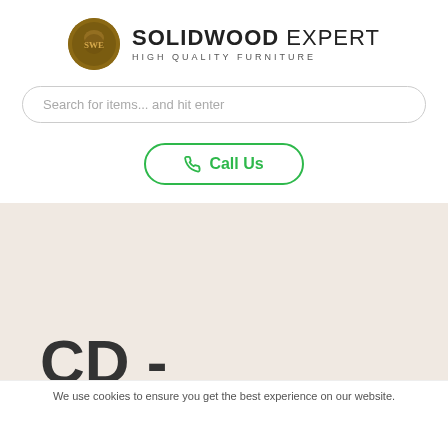[Figure (logo): Solidwood Expert logo with circular emblem and brand name]
Search for items... and hit enter
Call Us
CD -
We use cookies to ensure you get the best experience on our website.